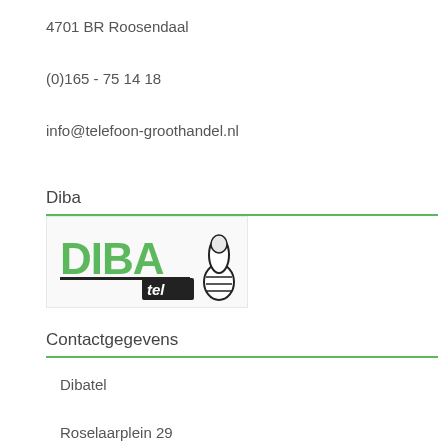4701 BR Roosendaal
(0)165 - 75 14 18
info@telefoon-groothandel.nl
Diba
[Figure (logo): Dibatel logo with green DIBA text and thumbs-up hand graphic with 'tel' in black box]
Contactgegevens
Dibatel
Roselaarplein 29